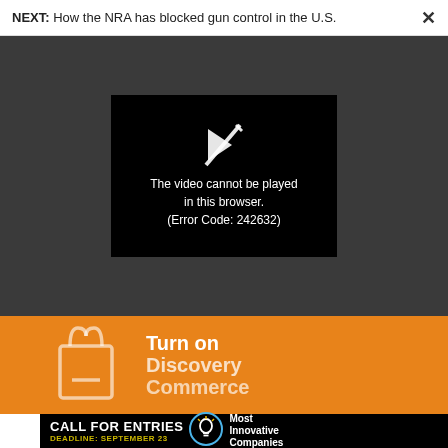NEXT: How the NRA has blocked gun control in the U.S.
[Figure (screenshot): Video player showing error message: The video cannot be played in this browser. (Error Code: 242632)]
[Figure (infographic): Orange advertisement banner: Turn on Discovery Commerce with shopping bag icon]
[Figure (infographic): Black banner advertisement: CALL FOR ENTRIES DEADLINE: SEPTEMBER 23 — Most Innovative Companies with lightbulb icon]